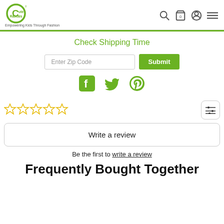Cute Rascals — Empowering Kids Through Fashion
Check Shipping Time
[Figure (screenshot): Zip code input field and Submit button]
[Figure (infographic): Social share icons: Facebook, Twitter, Pinterest]
[Figure (infographic): Five empty star rating icons]
Write a review
Be the first to write a review
Frequently Bought Together